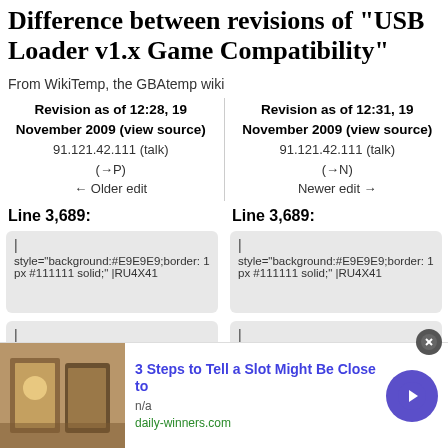Difference between revisions of "USB Loader v1.x Game Compatibility"
From WikiTemp, the GBAtemp wiki
Revision as of 12:28, 19 November 2009 (view source)
91.121.42.111 (talk)
(→P)
← Older edit
Revision as of 12:31, 19 November 2009 (view source)
91.121.42.111 (talk)
(→N)
Newer edit →
Line 3,689:
Line 3,689:
|
style="background:#E9E9E9;border: 1px #111111 solid;" |RU4X41
|
style="background:#E9E9E9;border: 1px #111111 solid;" |RU4X41
|
style="background:#E9E9E9;bord
|
style="background:#E9E9E9;b
[Figure (other): Advertisement overlay: '3 Steps to Tell a Slot Might Be Close to' from daily-winners.com with casino image]